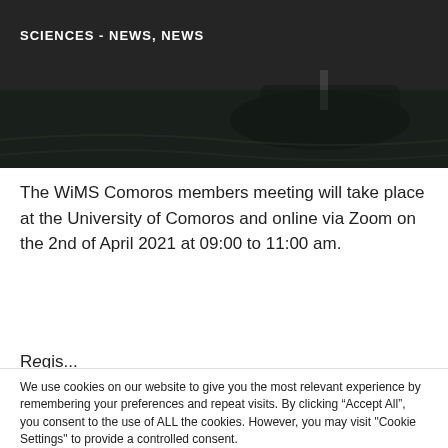[Figure (photo): Dark header image showing a waterway or coastal scene with a boat, overlaid with white bold text]
SCIENCES - NEWS, NEWS
The WiMS Comoros members meeting will take place at the University of Comoros and online via Zoom on the 2nd of April 2021 at 09:00 to 11:00 am.
We use cookies on our website to give you the most relevant experience by remembering your preferences and repeat visits. By clicking “Accept All”, you consent to the use of ALL the cookies. However, you may visit "Cookie Settings" to provide a controlled consent.